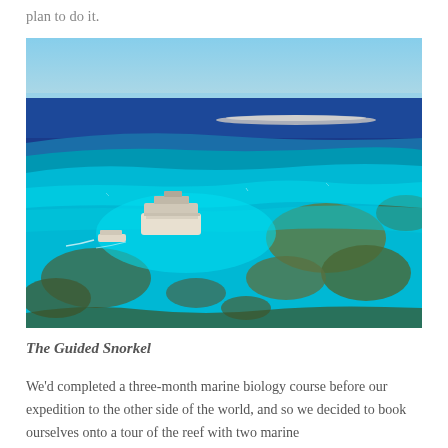plan to do it.
[Figure (photo): Aerial view of the Great Barrier Reef showing vivid turquoise and blue water over coral reef formations, with a large tour vessel and a small boat visible in the water.]
The Guided Snorkel
We'd completed a three-month marine biology course before our expedition to the other side of the world, and so we decided to book ourselves onto a tour of the reef with two marine